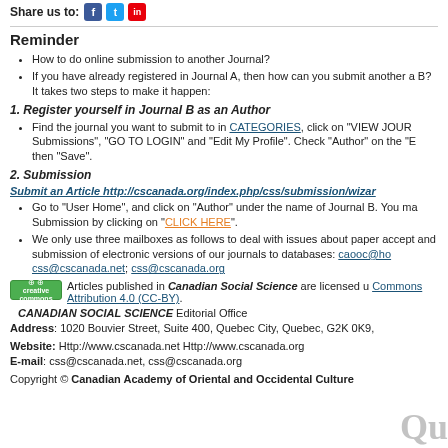Share us to:
Reminder
How to do online submission to another Journal?
If you have already registered in Journal A, then how can you submit another article to Journal B? It takes two steps to make it happen:
1. Register yourself in Journal B as an Author
Find the journal you want to submit to in CATEGORIES, click on "VIEW JOURNAL", "Online Submissions", "GO TO LOGIN" and "Edit My Profile". Check "Author" on the "Edit My Profile" page, then "Save".
2. Submission
Submit an Article http://cscanada.org/index.php/css/submission/wizard
Go to "User Home", and click on "Author" under the name of Journal B. You may start a New Submission by clicking on "CLICK HERE".
We only use three mailboxes as follows to deal with issues about paper acceptance, payment and submission of electronic versions of our journals to databases: caooc@hotmail.com; css@cscanada.net; css@cscanada.org
Articles published in Canadian Social Science are licensed under Creative Commons Attribution 4.0 (CC-BY).
CANADIAN SOCIAL SCIENCE Editorial Office
Address: 1020 Bouvier Street, Suite 400, Quebec City, Quebec, G2K 0K9,
Website: Http://www.cscanada.net Http://www.cscanada.org
E-mail: css@cscanada.net, css@cscanada.org
Copyright © Canadian Academy of Oriental and Occidental Culture